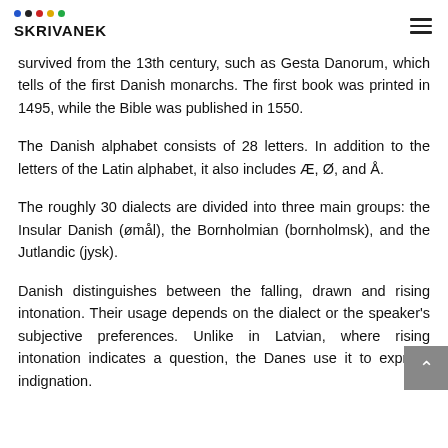SKRIVANEK
survived from the 13th century, such as Gesta Danorum, which tells of the first Danish monarchs. The first book was printed in 1495, while the Bible was published in 1550.
The Danish alphabet consists of 28 letters. In addition to the letters of the Latin alphabet, it also includes Æ, Ø, and Å.
The roughly 30 dialects are divided into three main groups: the Insular Danish (ømål), the Bornholmian (bornholmsk), and the Jutlandic (jysk).
Danish distinguishes between the falling, drawn and rising intonation. Their usage depends on the dialect or the speaker's subjective preferences. Unlike in Latvian, where rising intonation indicates a question, the Danes use it to express indignation.